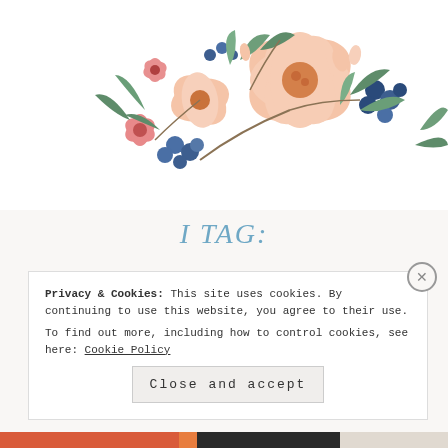[Figure (illustration): Watercolor floral arrangement with pink, peach flowers, blue berries, and green leaves on a white background]
I TAG:
I'll be tagging some newer blogs I've followed and loved recently!
TRAVELING ACROSS PAGES
Privacy & Cookies: This site uses cookies. By continuing to use this website, you agree to their use.
To find out more, including how to control cookies, see here: Cookie Policy
Close and accept